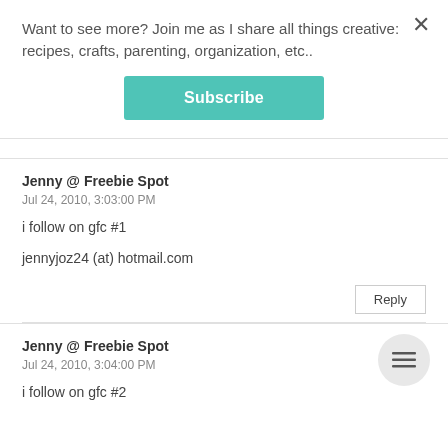Want to see more? Join me as I share all things creative: recipes, crafts, parenting, organization, etc..
Subscribe
×
Jenny @ Freebie Spot
Jul 24, 2010, 3:03:00 PM
i follow on gfc #1
jennyjoz24 (at) hotmail.com
Reply
Jenny @ Freebie Spot
Jul 24, 2010, 3:04:00 PM
i follow on gfc #2